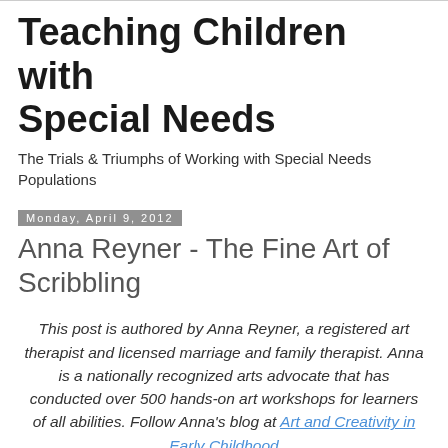Teaching Children with Special Needs
The Trials & Triumphs of Working with Special Needs Populations
Monday, April 9, 2012
Anna Reyner - The Fine Art of Scribbling
This post is authored by Anna Reyner, a registered art therapist and licensed marriage and family therapist. Anna is a nationally recognized arts advocate that has conducted over 500 hands-on art workshops for learners of all abilities. Follow Anna's blog at Art and Creativity in Early Childhood